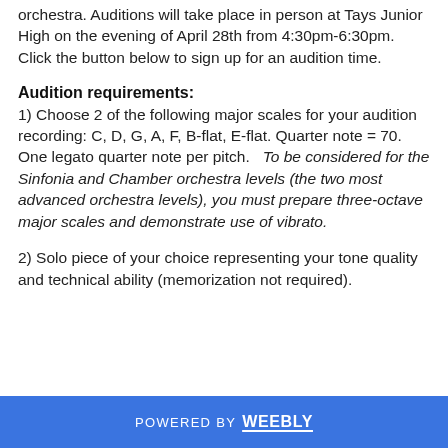orchestra.  Auditions will take place in person at Tays Junior High on the evening of April 28th from 4:30pm-6:30pm.  Click the button below to sign up for an audition time.
Audition requirements:
1) Choose 2 of the following major scales for your audition recording: C, D, G, A, F, B-flat, E-flat.  Quarter note = 70.  One legato quarter note per pitch.   To be considered for the Sinfonia and Chamber orchestra levels (the two most advanced orchestra levels), you must prepare three-octave major scales and demonstrate use of vibrato.
2) Solo piece of your choice representing your tone quality and technical ability (memorization not required).
POWERED BY weebly